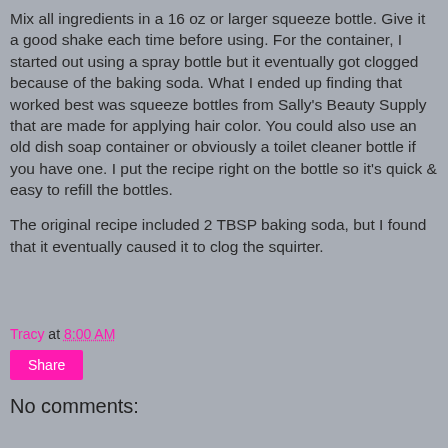Mix all ingredients in a 16 oz or larger squeeze bottle. Give it a good shake each time before using. For the container, I started out using a spray bottle but it eventually got clogged because of the baking soda. What I ended up finding that worked best was squeeze bottles from Sally's Beauty Supply that are made for applying hair color. You could also use an old dish soap container or obviously a toilet cleaner bottle if you have one. I put the recipe right on the bottle so it's quick & easy to refill the bottles.
The original recipe included 2 TBSP baking soda, but I found that it eventually caused it to clog the squirter.
Tracy at 8:00 AM
Share
No comments: